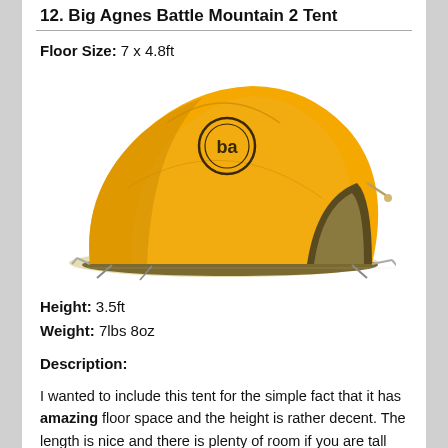12. Big Agnes Battle Mountain 2 Tent
Floor Size: 7 x 4.8ft
[Figure (photo): Yellow Big Agnes Battle Mountain 2 Tent with grey floor panel and open vestibule, shown on white background.]
Height: 3.5ft
Weight: 7lbs 8oz
Description:
I wanted to include this tent for the simple fact that it has amazing floor space and the height is rather decent. The length is nice and there is plenty of room if you are tall